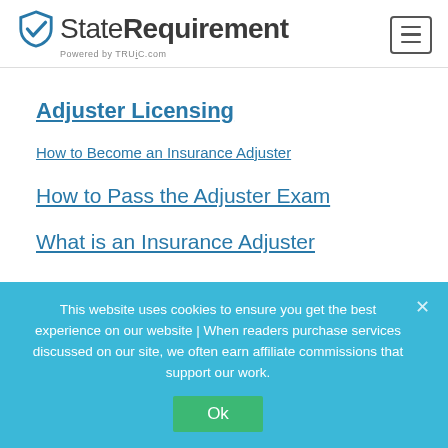StateRequirement — Powered by TRUiC.com
Adjuster Licensing
How to Become an Insurance Adjuster
How to Pass the Adjuster Exam
What is an Insurance Adjuster
This website uses cookies to ensure you get the best experience on our website | When readers purchase services discussed on our site, we often earn affiliate commissions that support our work.